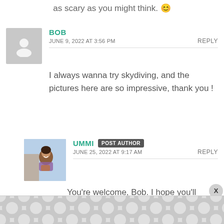as scary as you might think. 😊
BOB
JUNE 9, 2022 AT 3:56 PM
REPLY
I always wanna try skydiving, and the pictures here are so impressive, thank you !
UMMI POST AUTHOR
JUNE 25, 2022 AT 9:17 AM
REPLY
You're welcome, Bob. I hope you'll